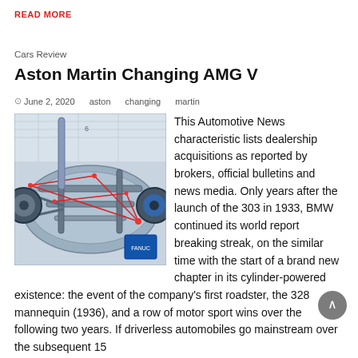READ MORE
Cars Review
Aston Martin Changing AMG V
© June 2, 2020   aston   changing   martin
[Figure (photo): Car chassis frame in a manufacturing facility with red laser measurement lines overlaid]
This Automotive News characteristic lists dealership acquisitions as reported by brokers, official bulletins and news media. Only years after the launch of the 303 in 1933, BMW continued its world report breaking streak, on the similar time with the start of a brand new chapter in its cylinder-powered existence: the event of the company's first roadster, the 328 mannequin (1936), and a row of motor sport wins over the following two years. If driverless automobiles go mainstream over the subsequent 15